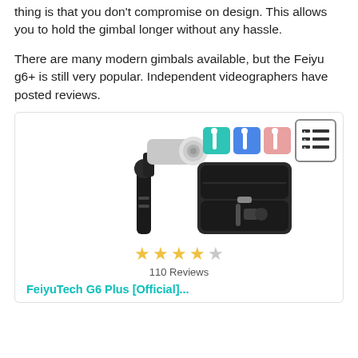thing is that you don't compromise on design. This allows you to hold the gimbal longer without any hassle.
There are many modern gimbals available, but the Feiyu g6+ is still very popular. Independent videographers have posted reviews.
[Figure (photo): Product card showing FeiyuTech G6 Plus gimbal with camera mounted, small thumbnail images of the product, and an open carrying case. 4 out of 5 stars, 110 Reviews. Link: FeiyuTech G6 Plus [Official]...]
FeiyuTech G6 Plus [Official]...